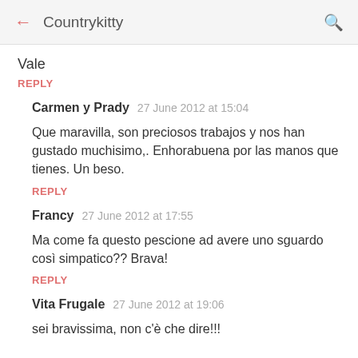← Countrykitty 🔍
Vale
REPLY
Carmen y Prady  27 June 2012 at 15:04
Que maravilla, son preciosos trabajos y nos han gustado muchisimo,. Enhorabuena por las manos que tienes. Un beso.
REPLY
Francy  27 June 2012 at 17:55
Ma come fa questo pescione ad avere uno sguardo così simpatico?? Brava!
REPLY
Vita Frugale  27 June 2012 at 19:06
sei bravissima, non c'è che dire!!!